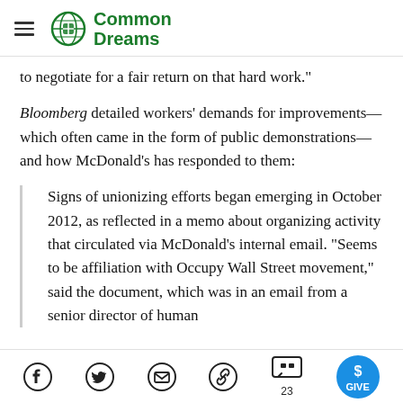Common Dreams
to negotiate for a fair return on that hard work."
Bloomberg detailed workers' demands for improvements—which often came in the form of public demonstrations—and how McDonald's has responded to them:
Signs of unionizing efforts began emerging in October 2012, as reflected in a memo about organizing activity that circulated via McDonald's internal email. "Seems to be affiliation with Occupy Wall Street movement," said the document, which was in an email from a senior director of human
Social share icons: Facebook, Twitter, Email, Link, Comments (23), GIVE